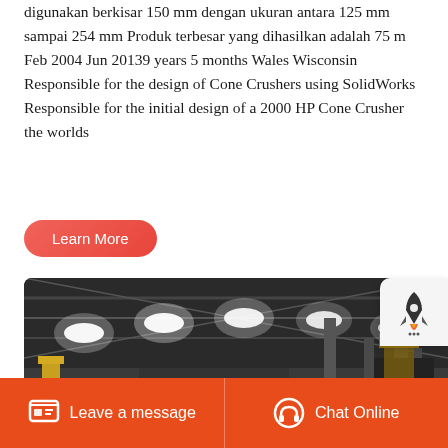digunakan berkisar 150 mm dengan ukuran antara 125 mm sampai 254 mm Produk terbesar yang dihasilkan adalah 75 m Feb 2004 Jun 20139 years 5 months Wales Wisconsin Responsible for the design of Cone Crushers using SolidWorks Responsible for the initial design of a 2000 HP Cone Crusher the worlds
[Figure (other): Button labeled 'Learn More' with red/coral rounded pill shape]
[Figure (photo): Interior of an industrial factory or warehouse with large overhead LED lights, metal scaffolding and machinery, yellow structural columns visible]
[Figure (other): White rocket icon button on light gray rounded square background, positioned top-right over photo]
Leave a message  Chat Online